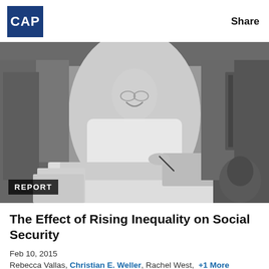[Figure (logo): CAP (Center for American Progress) logo - white text on dark navy blue square background]
Share
[Figure (photo): Black and white historical photograph of Franklin D. Roosevelt smiling and signing documents at a desk, surrounded by men in suits. A 'REPORT' badge appears in the lower left corner of the image.]
The Effect of Rising Inequality on Social Security
Feb 10, 2015
Rebecca Vallas, Christian E. Weller, Rachel West,  +1 More